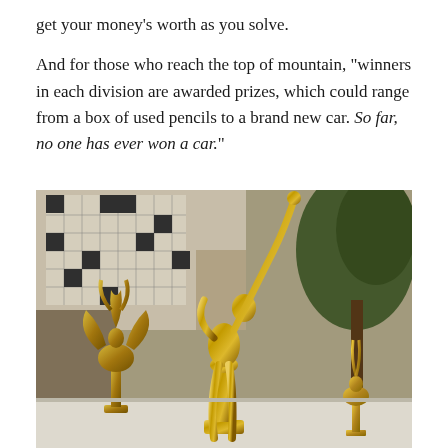get your money's worth as you solve.
And for those who reach the top of mountain, "winners in each division are awarded prizes, which could range from a box of used pencils to a brand new car. So far, no one has ever won a car."
[Figure (photo): A close-up photograph of gold trophy figurines on a table, with a large crossword puzzle board and a tree visible in the background.]